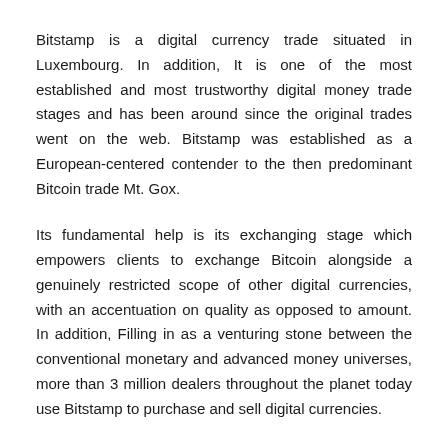Bitstamp is a digital currency trade situated in Luxembourg. In addition, It is one of the most established and most trustworthy digital money trade stages and has been around since the original trades went on the web. Bitstamp was established as a European-centered contender to the then predominant Bitcoin trade Mt. Gox.
Its fundamental help is its exchanging stage which empowers clients to exchange Bitcoin alongside a genuinely restricted scope of other digital currencies, with an accentuation on quality as opposed to amount. In addition, Filling in as a venturing stone between the conventional monetary and advanced money universes, more than 3 million dealers throughout the planet today use Bitstamp to purchase and sell digital currencies.
Area: London, Luxembourg; Slovenia